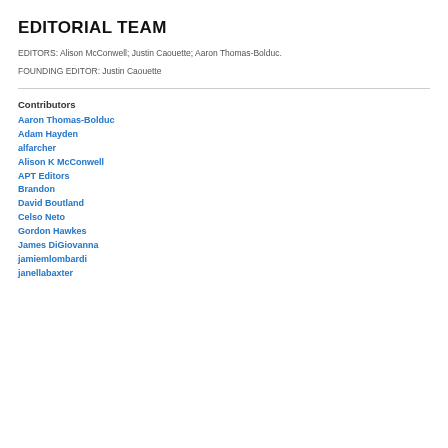EDITORIAL TEAM
EDITORS: Alison McConwell; Justin Caouette; Aaron Thomas-Bolduc.
FOUNDING EDITOR: Justin Caouette
Contributors
Aaron Thomas-Bolduc
Adam Hayden
alfarcher
Alison K McConwell
APT Editors
Brandon
David Boutland
Celso Neto
Gordon Hawkes
James DiGiovanna
jamiemlombardi
janellabaxter